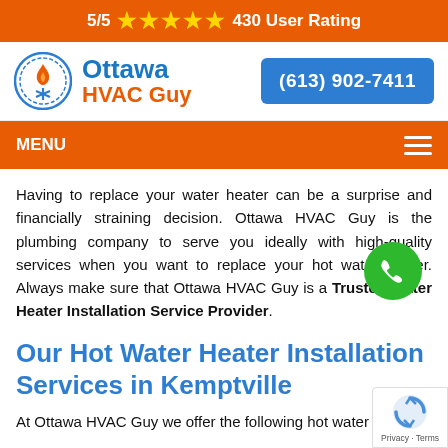5/5 ★★★★★ 430 User Rating
[Figure (logo): Ottawa HVAC Guy logo with flame and snowflake icon, company name in blue and orange]
(613) 902-7411
MENU
Having to replace your water heater can be a surprise and financially straining decision. Ottawa HVAC Guy is the plumbing company to serve you ideally with high-quality services when you want to replace your hot water heater. Always make sure that Ottawa HVAC Guy is a Trusted Water Heater Installation Service Provider.
Our Hot Water Heater Installation Services in Kemptville
At Ottawa HVAC Guy we offer the following hot water